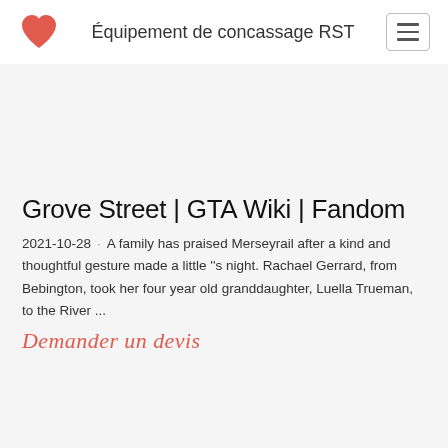Équipement de concassage RST
Grove Street | GTA Wiki | Fandom
2021-10-28 · A family has praised Merseyrail after a kind and thoughtful gesture made a little ''s night. Rachael Gerrard, from Bebington, took her four year old granddaughter, Luella Trueman, to the River ...
Demander un devis